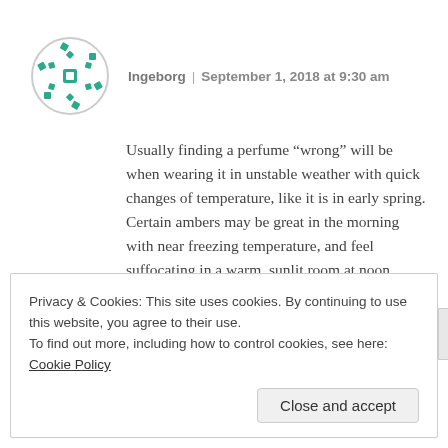[Figure (logo): Circular avatar icon with green snowflake/grid pattern on white background with gray border]
Ingeborg | September 1, 2018 at 9:30 am
Usually finding a perfume “wrong” will be when wearing it in unstable weather with quick changes of temperature, like it is in early spring. Certain ambers may be great in the morning with near freezing temperature, and feel suffocating in a warm, sunlit room at noon.
Privacy & Cookies: This site uses cookies. By continuing to use this website, you agree to their use.
To find out more, including how to control cookies, see here: Cookie Policy
Close and accept